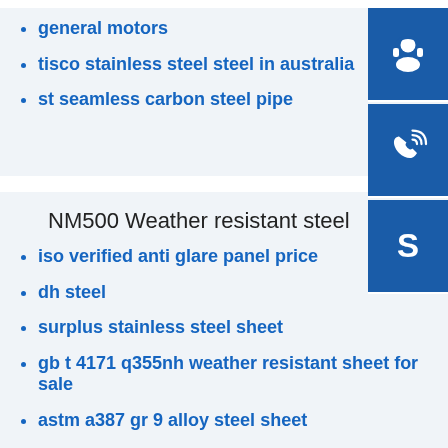general motors
tisco stainless steel steel in australia
st seamless carbon steel pipe
[Figure (infographic): Three blue icon buttons on right side: headset/support icon, phone call icon, Skype icon]
NM500 Weather resistant steel
iso verified anti glare panel price
dh steel
surplus stainless steel sheet
gb t 4171 q355nh weather resistant sheet for sale
astm a387 gr 9 alloy steel sheet
decorative wall covering shoots stainless steel